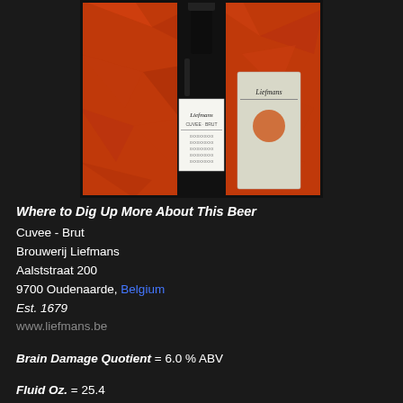[Figure (photo): Photo of Liefmans Cuvee-Brut beer bottle and packaging against a crinkled foil background]
Where to Dig Up More About This Beer
Cuvee - Brut
Brouwerij Liefmans
Aalststraat 200
9700 Oudenaarde, Belgium
Est. 1679
www.liefmans.be
Brain Damage Quotient = 6.0 % ABV
Fluid Oz. = 25.4
Postmortem Brew Review